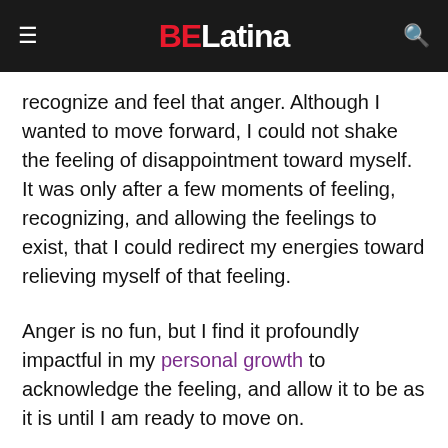BELatina
recognize and feel that anger. Although I wanted to move forward, I could not shake the feeling of disappointment toward myself. It was only after a few moments of feeling, recognizing, and allowing the feelings to exist, that I could redirect my energies toward relieving myself of that feeling.
Anger is no fun, but I find it profoundly impactful in my personal growth to acknowledge the feeling, and allow it to be as it is until I am ready to move on.
We use cookies to ensure that we give you the best experience on our website. If you continue to use this site we will assume that you are happy with it.